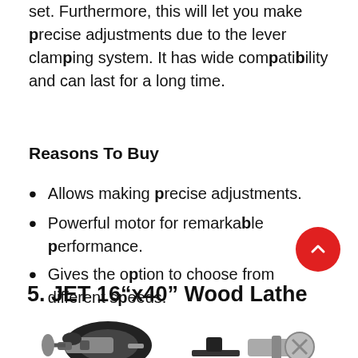set. Furthermore, this will let you make precise adjustments due to the lever clamping system. It has wide compatibility and can last for a long time.
Reasons To Buy
Allows making precise adjustments.
Powerful motor for remarkable performance.
Gives the option to choose from different speeds.
5. JET 16"x40" Wood Lathe
[Figure (photo): Photo of a JET 16x40 wood lathe machine showing the headstock and tailstock components on a white background]